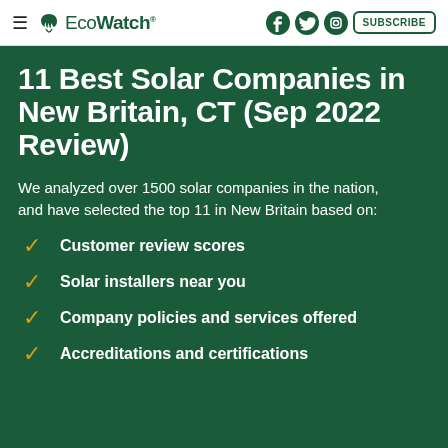EcoWatch | SUBSCRIBE
11 Best Solar Companies in New Britain, CT (Sep 2022 Review)
We analyzed over 1500 solar companies in the nation, and have selected the top 11 in New Britain based on:
Customer review scores
Solar installers near you
Company policies and services offered
Accreditations and certifications